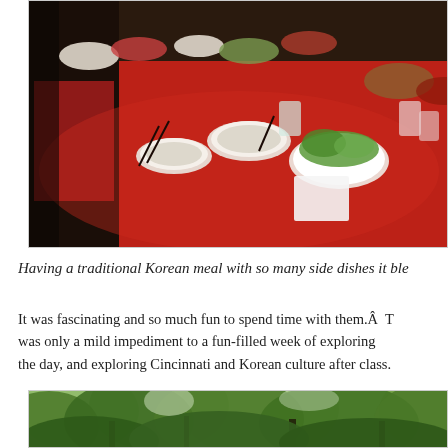[Figure (photo): Photo of a Korean meal spread on a table with a red tablecloth. Multiple dishes including rice, lettuce, and various side dishes are visible. A person in a red checkered shirt is seen on the left side.]
Having a traditional Korean meal with so many side dishes it ble...
It was fascinating and so much fun to spend time with them.Â  T... was only a mild impediment to a fun-filled week of exploring... the day, and exploring Cincinnati and Korean culture after class.
[Figure (photo): Photo of a lush green forest with tall deciduous trees and dense foliage.]